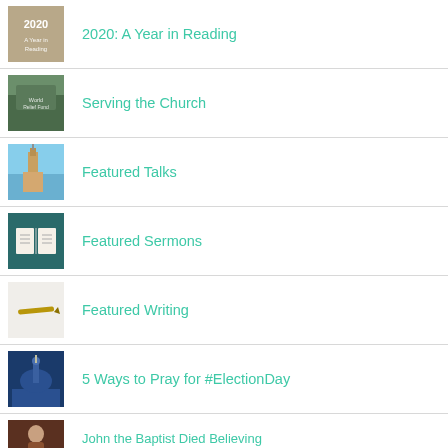2020: A Year in Reading
Serving the Church
Featured Talks
Featured Sermons
Featured Writing
5 Ways to Pray for #ElectionDay
John the Baptist Died Believing Character Matters